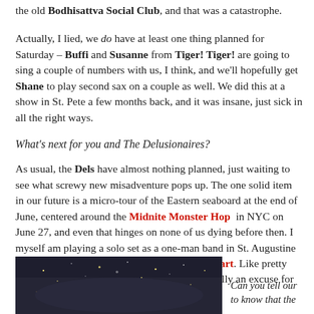the old Bodhisattva Social Club, and that was a catastrophe.
Actually, I lied, we do have at least one thing planned for Saturday – Buffi and Susanne from Tiger! Tiger! are going to sing a couple of numbers with us, I think, and we'll hopefully get Shane to play second sax on a couple as well. We did this at a show in St. Pete a few months back, and it was insane, just sick in all the right ways.
What's next for you and The Delusionaires?
As usual, the Dels have almost nothing planned, just waiting to see what screwy new misadventure pops up. The one solid item in our future is a micro-tour of the Eastern seaboard at the end of June, centered around the Midnite Monster Hop in NYC on June 27, and even that hinges on none of us dying before then. I myself am playing a solo set as a one-man band in St. Augustine on release party for the amazing Kensley Stewart. Like pretty much e the set itself is just a MacGuffin, basically an excuse for me to go p to do otherwise.
[Figure (photo): Dark stage or venue photo with sparkle/light effects]
Can you tell our to know that the